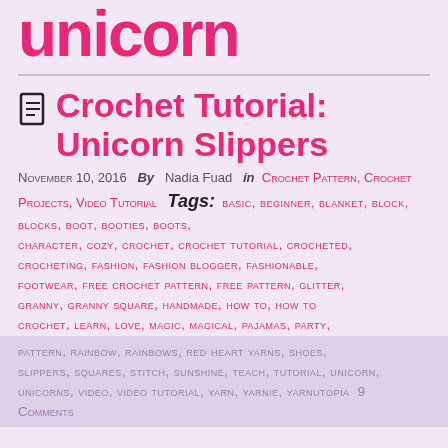unicorn
Crochet Tutorial: Unicorn Slippers
November 10, 2016  By  Nadia Fuad  in Crochet Pattern, Crochet Projects, Video Tutorial  Tags: basic, beginner, blanket, block, blocks, boot, booties, boots, character, cozy, crochet, crochet tutorial, crocheted, crocheting, fashion, fashion blogger, fashionable, footwear, free crochet pattern, free pattern, glitter, granny, granny square, handmade, how to, how to crochet, learn, love, magic, magical, pajamas, party,
pattern, rainbow, rainbows, red heart yarns, shoes, slippers, squares, stitch, sunshine, teach, tutorial, unicorn, unicorns, video, video tutorial, yarn, yarnie, yarnutopia  9 Comments